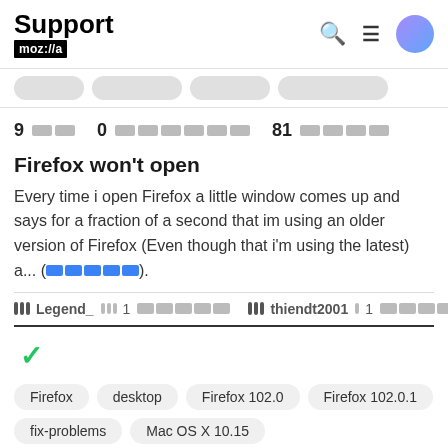Support mozilla// [search] [menu] [user]
9 [blocks] 0 [blocks] 81 [blocks]
Firefox won't open
Every time i open Firefox a little window comes up and says for a fraction of a second that im using an older version of Firefox (Even though that i'm using the latest) a... ([more link])
Legend_ 1 [blocks]   thiendt2001 1 [blocks]
✓
Firefox   desktop   Firefox 102.0   Firefox 102.0.1
fix-problems   Mac OS X 10.15